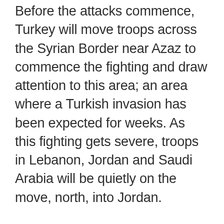Before the attacks commence, Turkey will move troops across the Syrian Border near Azaz to commence the fighting and draw attention to this area; an area where a Turkish invasion has been expected for weeks. As this fighting gets severe, troops in Lebanon, Jordan and Saudi Arabia will be quietly on the move, north, into Jordan.
According to our sources, the covert troops will move from Amman, Jordan, into the Golan Heights, with orders to attack Damascus from the SOUTH.  Their colleagues from Beirut will move to attack Damascus from the